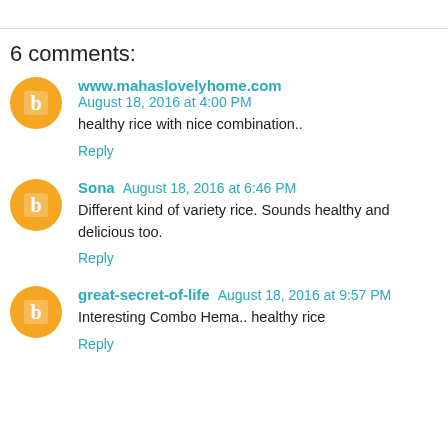6 comments:
www.mahaslovelyhome.com August 18, 2016 at 4:00 PM
healthy rice with nice combination..
Reply
Sona August 18, 2016 at 6:46 PM
Different kind of variety rice. Sounds healthy and delicious too.
Reply
great-secret-of-life August 18, 2016 at 9:57 PM
Interesting Combo Hema.. healthy rice
Reply